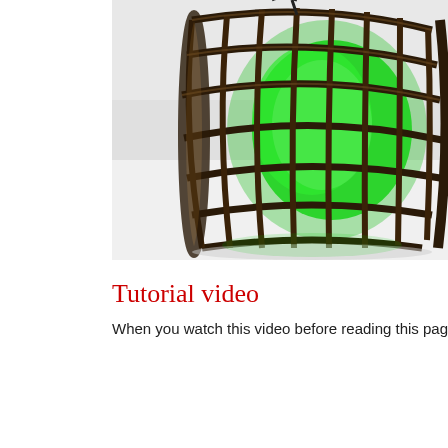[Figure (photo): A metal cage-like cylindrical object with a green glowing light inside, photographed on a white surface. The cage is made of dark bronze/copper colored metal bars arranged in a grid pattern around a cylindrical form.]
Tutorial video
When you watch this video before reading this page, you can u